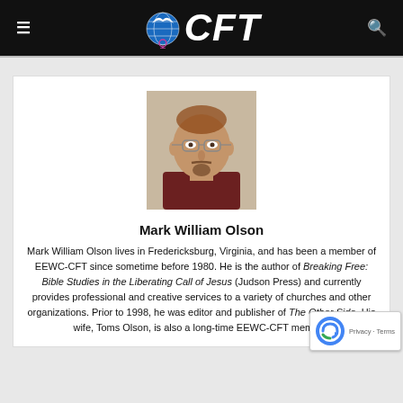CFT
[Figure (photo): Portrait photo of Mark William Olson, a middle-aged man with glasses, thinning reddish hair, and a goatee, wearing a dark red shirt.]
Mark William Olson
Mark William Olson lives in Fredericksburg, Virginia, and has been a member of EEWC-CFT since sometime before 1980. He is the author of Breaking Free: Bible Studies in the Liberating Call of Jesus (Judson Press) and currently provides professional and creative services to a variety of churches and other organizations. Prior to 1998, he was editor and publisher of The Other Side. His wife, Toms Olson, is also a long-time EEWC-CFT member.